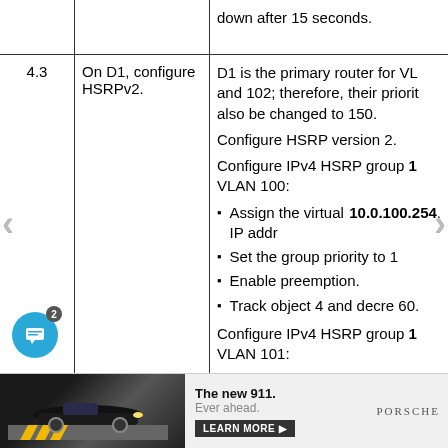|  |  |  |
| --- | --- | --- |
|  |  | down after 15 seconds. |
| 4.3 | On D1, configure HSRPv2. | D1 is the primary router for VL and 102; therefore, their priorities also be changed to 150. Configure HSRP version 2. Configure IPv4 HSRP group 1 VLAN 100: • Assign the virtual IP address 10.0.100.254. • Set the group priority to 1 • Enable preemption. • Track object 4 and decre 60. Configure IPv4 HSRP group 1 VLAN 101: |